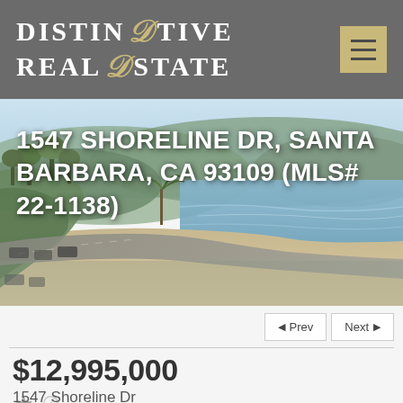DISTINCTIVE REAL ESTATE
[Figure (photo): Aerial/coastal view of Shoreline Drive in Santa Barbara, showing a beach road, parked cars, sandy beach, ocean waves, palm trees, and hills in the background]
1547 SHORELINE DR, SANTA BARBARA, CA 93109 (MLS# 22-1138)
◄ Prev   Next ►
$12,995,000
1547 Shoreline Dr